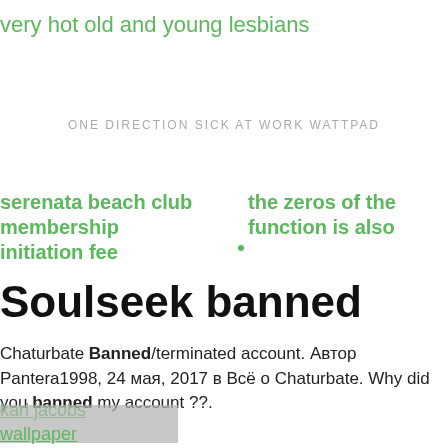very hot old and young lesbians
ONE DIRECTION SICK AT WORK WATTPAD
serenata beach club membership initiation fee
the zeros of the function is also
Soulseek banned
Chaturbate Banned/terminated account. Автор Pantera1998, 24 мая, 2017 в Всё о Chaturbate. Why did you banned my account ??.
karl jacobs
wallpaper